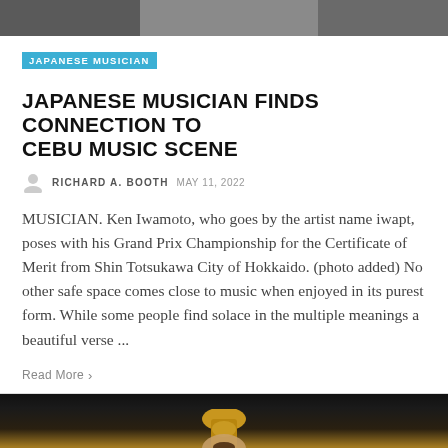[Figure (photo): Top portion of an image showing a person, partially visible]
JAPANESE MUSICIAN
JAPANESE MUSICIAN FINDS CONNECTION TO CEBU MUSIC SCENE
RICHARD A. BOOTH  MAY 11, 2022
MUSICIAN. Ken Iwamoto, who goes by the artist name iwapt, poses with his Grand Prix Championship for the Certificate of Merit from Shin Totsukawa City of Hokkaido. (photo added) No other safe space comes close to music when enjoyed in its purest form. While some people find solace in the multiple meanings a beautiful verse ...
Read More  >
[Figure (photo): Bottom portion showing a person holding a golden trophy (Oscar-like award), face partially visible below the trophy]